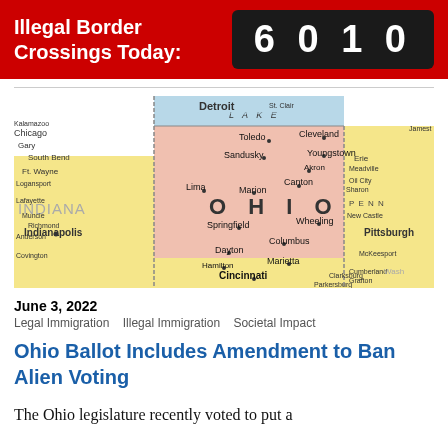Illegal Border Crossings Today: 6010
[Figure (map): Vintage map of Ohio and surrounding states including Indiana, Michigan, Pennsylvania, West Virginia, and Kentucky, with cities labeled including Cleveland, Columbus, Cincinnati, Dayton, Toledo, Akron, Detroit, Pittsburgh, and Indianapolis.]
June 3, 2022
Legal Immigration   Illegal Immigration   Societal Impact
Ohio Ballot Includes Amendment to Ban Alien Voting
The Ohio legislature recently voted to put a